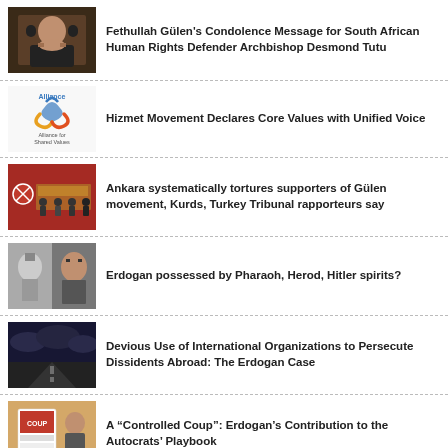[Figure (photo): Archbishop Desmond Tutu portrait photo]
Fethullah Gülen's Condolence Message for South African Human Rights Defender Archbishop Desmond Tutu
[Figure (logo): Alliance for Shared Values logo]
Hizmet Movement Declares Core Values with Unified Voice
[Figure (photo): Turkey Tribunal panel photo]
Ankara systematically tortures supporters of Gülen movement, Kurds, Turkey Tribunal rapporteurs say
[Figure (photo): Erdogan and Hitler composite photo]
Erdogan possessed by Pharaoh, Herod, Hitler spirits?
[Figure (photo): Dark road photo]
Devious Use of International Organizations to Persecute Dissidents Abroad: The Erdogan Case
[Figure (photo): Controlled coup protest photo]
A “Controlled Coup”: Erdogan’s Contribution to the Autocrats’ Playbook
[Figure (photo): Group photo related to Gulen persecution]
Why is Turkey’s Erdogan persecuting the Gulen